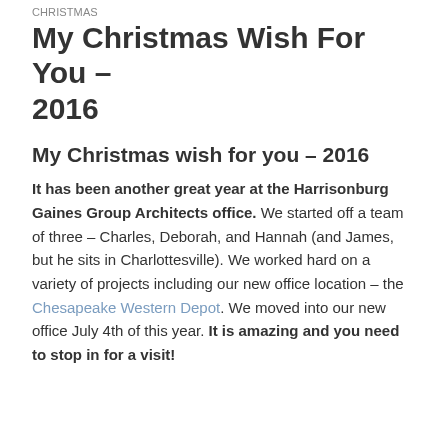CHRISTMAS
My Christmas Wish For You – 2016
My Christmas wish for you – 2016
It has been another great year at the Harrisonburg Gaines Group Architects office. We started off a team of three – Charles, Deborah, and Hannah (and James, but he sits in Charlottesville). We worked hard on a variety of projects including our new office location – the Chesapeake Western Depot. We moved into our new office July 4th of this year. It is amazing and you need to stop in for a visit!